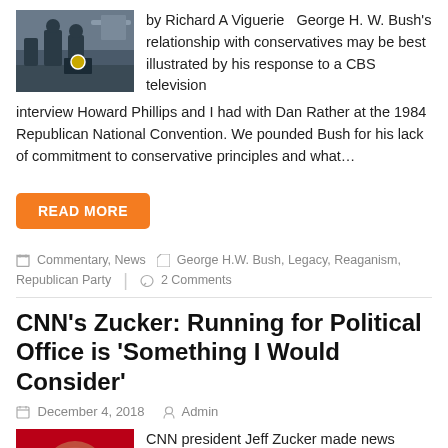[Figure (photo): Photo of George H.W. Bush at a podium with military personnel in background]
by Richard A Viguerie   George H. W. Bush's relationship with conservatives may be best illustrated by his response to a CBS television interview Howard Phillips and I had with Dan Rather at the 1984 Republican National Convention. We pounded Bush for his lack of commitment to conservative principles and what…
READ MORE
Commentary, News   George H.W. Bush, Legacy, Reaganism, Republican Party   2 Comments
CNN's Zucker: Running for Political Office is 'Something I Would Consider'
December 4, 2018   Admin
[Figure (photo): Photo of Jeff Zucker, President of CNN, on red background with name label]
CNN president Jeff Zucker made news Monday hinting he would consider running for office in a five-year timeframe. The comments came at